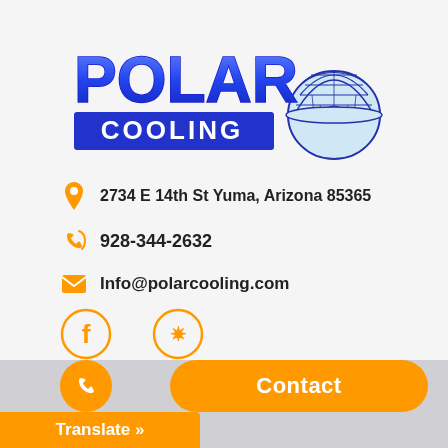[Figure (logo): Polar Cooling logo with blue bubble letters POLAR above a blue bar with COOLING text, and an igloo illustration to the right]
2734 E 14th St Yuma, Arizona 85365
928-344-2632
Info@polarcooling.com
[Figure (illustration): Facebook icon circle with F letter in orange outline circle]
[Figure (illustration): Yelp icon circle with burst star in orange outline circle]
Contact
Translate »